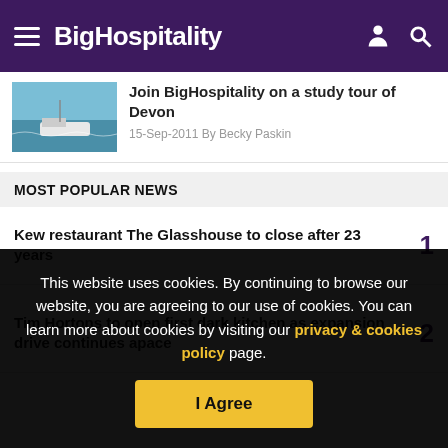BigHospitality
Join BigHospitality on a study tour of Devon
15-Sep-2011 By Becky Paskin
MOST POPULAR NEWS
Kew restaurant The Glasshouse to close after 23 years 1
Tim Hortons to open first dark kitchen as expansion drive continues apace 2
This website uses cookies. By continuing to browse our website, you are agreeing to our use of cookies. You can learn more about cookies by visiting our privacy & cookies policy page.